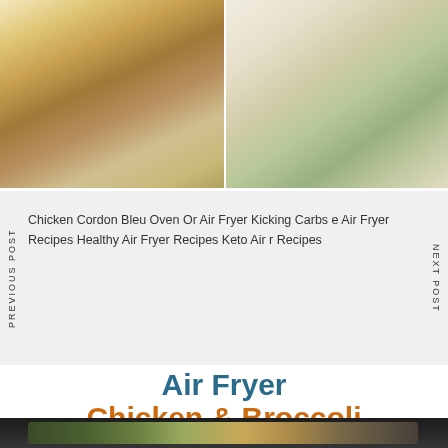[Figure (photo): Two food photos side by side: left shows Chicken Cordon Bleu, right shows a dish with mozzarella and herbs]
Chicken Cordon Bleu Oven Or Air Fryer Kicking Carbs e Air Fryer Recipes Healthy Air Fryer Recipes Keto Air r Recipes
Air Fryer Chicken & Broccoli
[Figure (photo): Air fryer basket containing chicken and broccoli pieces]